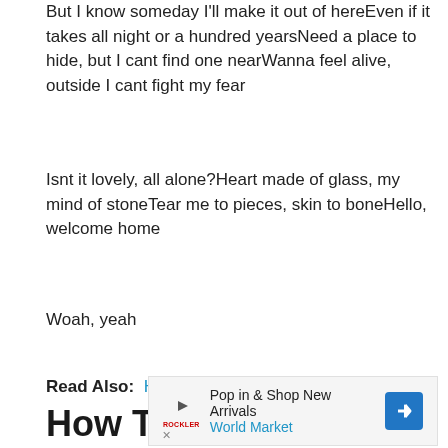But I know someday I'll make it out of hereEven if it takes all night or a hundred yearsNeed a place to hide, but I cant find one nearWanna feel alive, outside I cant fight my fear
Isnt it lovely, all alone?Heart made of glass, my mind of stoneTear me to pieces, skin to boneHello, welcome home
Woah, yeah
Read Also:  How Many Shiny Pokemon Are There
How To Make A New Friend In Pokemon Go Is A Popular Question Asked By Gamers So
[Figure (other): Advertisement banner for World Market: Pop in & Shop New Arrivals]